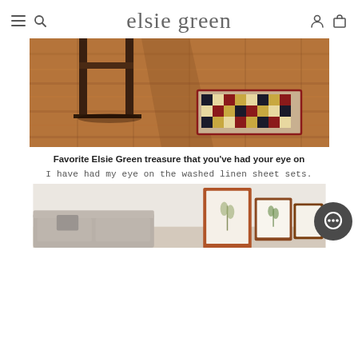elsie green
[Figure (photo): Wooden floor with a mid-century modern bench and a colorful checkered rug in the background]
Favorite Elsie Green treasure that you've had your eye on
I have had my eye on the washed linen sheet sets.
[Figure (photo): Partial view of a light interior room with a sofa, framed artwork, and a dark chat/messenger button overlay]